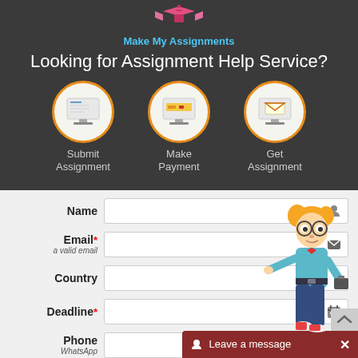[Figure (logo): Make My Assignments logo with pink/red mortar board and books design]
Looking for Assignment Help Service?
[Figure (infographic): Three step process icons: Submit Assignment, Make Payment, Get Assignment - each shown as computer monitor icons in white circles with orange borders]
Name [input field]
Email* a valid email [input field]
Country [input field]
Deadline* [input field]
Phone WhatsApp [input field]
[Figure (illustration): Cartoon character - nerdy boy with glasses and orange hair pointing, wearing blue shirt and jeans]
Leave a message